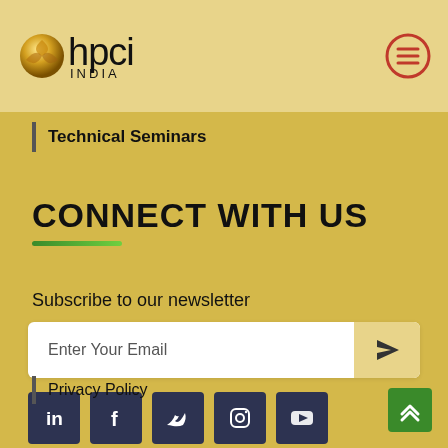[Figure (logo): HPCI India logo with golden globe icon and text 'hpci INDIA' in black on a golden/cream header background]
Technical Seminars
CONNECT WITH US
Subscribe to our newsletter
[Figure (other): Email subscription input box with placeholder 'Enter Your Email' and a send/arrow button on the right]
[Figure (other): Social media icons row: LinkedIn, Facebook, Twitter, Instagram, YouTube — dark navy square icons]
Privacy Policy
[Figure (other): Green scroll-to-top button with upward double chevron arrow in bottom right corner]